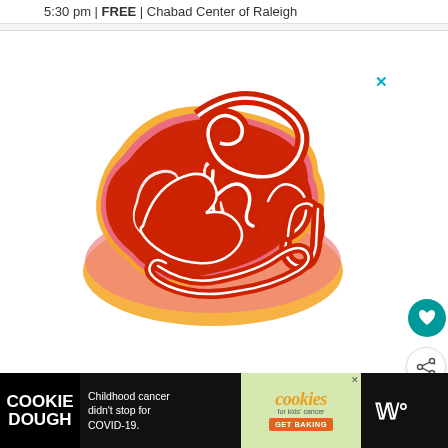5:30 pm | FREE | Chabad Center of Raleigh
[Figure (illustration): Colorful retro-style decorative lettering art reading 'Be Kind' in flowing cursive script with red, pink, orange, and yellow colors on white background]
✕
[Figure (other): Heart/like button - teal circle with white heart icon]
[Figure (other): Share button - white circle with share icon]
WHAT'S NEXT → Free Chanukah...
COOKIE DOUGH
Childhood cancer didn't stop for COVID-19.
cookies for kids' cancer GET BAKING